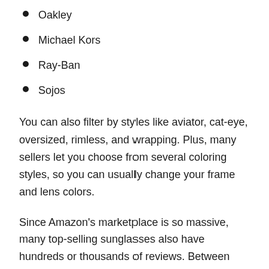Oakley
Michael Kors
Ray-Ban
Sojos
You can also filter by styles like aviator, cat-eye, oversized, rimless, and wrapping. Plus, many sellers let you choose from several coloring styles, so you can usually change your frame and lens colors.
Since Amazon's marketplace is so massive, many top-selling sunglasses also have hundreds or thousands of reviews. Between customer feedback and star ratings, you can ensure the sunglasses you're buying will hold up and won't break or disappoint out of the box.